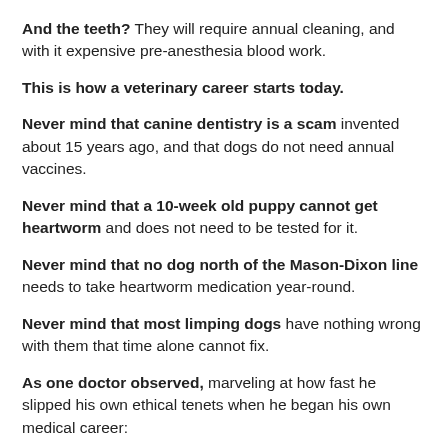And the teeth? They will require annual cleaning, and with it expensive pre-anesthesia blood work.
This is how a veterinary career starts today.
Never mind that canine dentistry is a scam invented about 15 years ago, and that dogs do not need annual vaccines.
Never mind that a 10-week old puppy cannot get heartworm and does not need to be tested for it.
Never mind that no dog north of the Mason-Dixon line needs to take heartworm medication year-round.
Never mind that most limping dogs have nothing wrong with them that time alone cannot fix.
As one doctor observed, marveling at how fast he slipped his own ethical tenets when he began his own medical career: